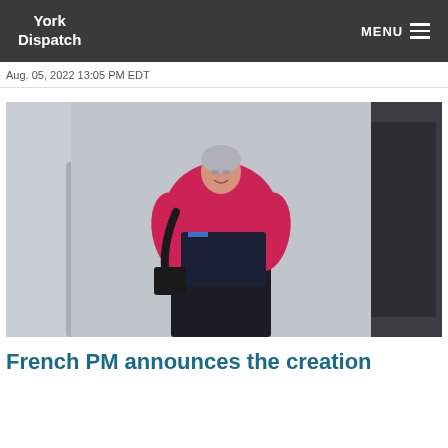York Dispatch   MENU
Aug. 05, 2022 13:05 PM EDT
[Figure (photo): Woman in red blazer carrying a dark folder/binder, smiling, photographed outdoors near a columned building entrance]
French PM announces the creation